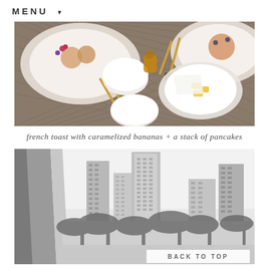MENU
[Figure (photo): Overhead aerial view of a breakfast table with plates of food including pancakes and french toast with caramelized bananas, white bowls, gold cutlery, small jam jars, butter portions, and napkins on a dark woven surface.]
french toast with caramelized bananas + a stack of pancakes
[Figure (photo): Black and white photograph of a tropical city skyline with tall residential and hotel skyscrapers, palm trees in the foreground, and a geometric architectural element (possibly a chair leg or sculpture) visible on the left side.]